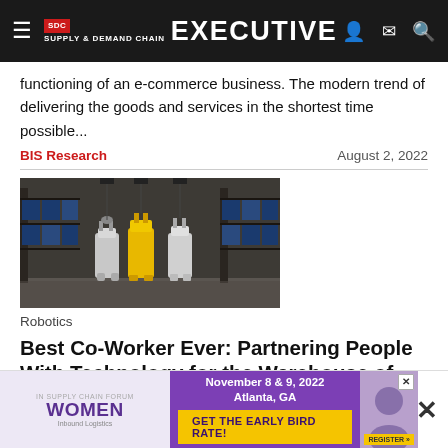Supply & Demand Chain Executive
functioning of an e-commerce business. The modern trend of delivering the goods and services in the shortest time possible...
BIS Research    August 2, 2022
[Figure (photo): Warehouse robots standing in a distribution center aisle with shelving units filled with boxes in the background.]
Robotics
Best Co-Worker Ever: Partnering People With Technology for the Warehouse of the Future
This case ... HL Supply Chain to keep up with a quick consumer demand increase
[Figure (infographic): Advertisement banner: Women in Supply Chain Forum, November 8 & 9, 2022, Atlanta, GA. Get the Early Bird Rate! Register button.]